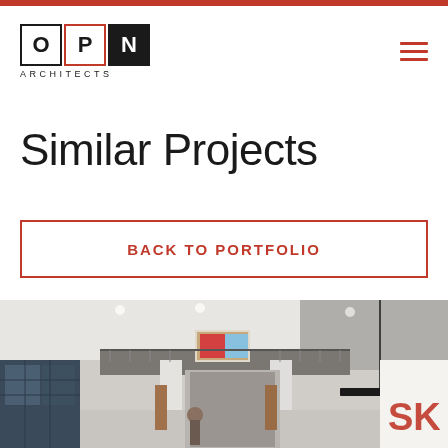[Figure (logo): OPN Architects logo with three letter boxes O, P, N and tagline ARCHITECTS below]
Similar Projects
BACK TO PORTFOLIO
[Figure (photo): Interior photo of a modern building lobby/corridor with white columns, glass storefront walls, recessed lighting, upper mezzanine level with metal railings, and a partial SKOO sign visible on the right side]